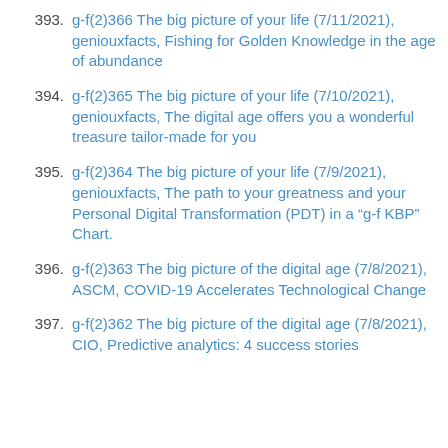393. g-f(2)366 The big picture of your life (7/11/2021), geniouxfacts, Fishing for Golden Knowledge in the age of abundance
394. g-f(2)365 The big picture of your life (7/10/2021), geniouxfacts, The digital age offers you a wonderful treasure tailor-made for you
395. g-f(2)364 The big picture of your life (7/9/2021), geniouxfacts, The path to your greatness and your Personal Digital Transformation (PDT) in a “g-f KBP” Chart.
396. g-f(2)363 The big picture of the digital age (7/8/2021), ASCM, COVID-19 Accelerates Technological Change
397. g-f(2)362 The big picture of the digital age (7/8/2021), CIO, Predictive analytics: 4 success stories